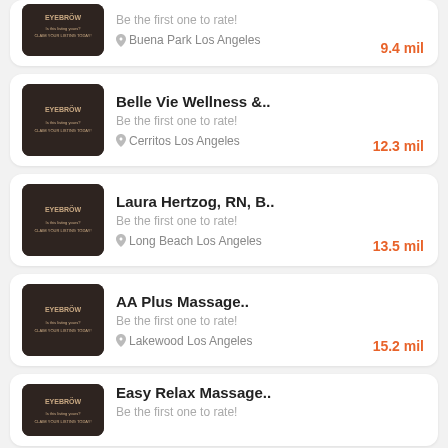Be the first one to rate! Buena Park Los Angeles 9.4 mil
Belle Vie Wellness &.. Be the first one to rate! Cerritos Los Angeles 12.3 mil
Laura Hertzog, RN, B.. Be the first one to rate! Long Beach Los Angeles 13.5 mil
AA Plus Massage.. Be the first one to rate! Lakewood Los Angeles 15.2 mil
Easy Relax Massage.. Be the first one to rate!